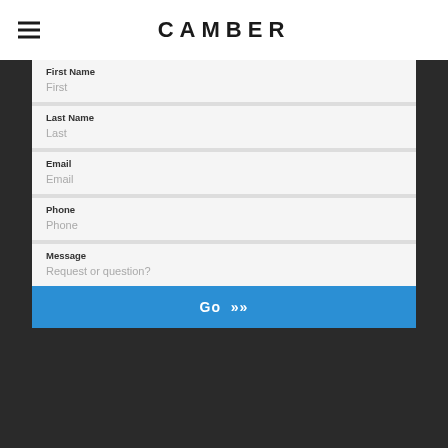CAMBER
First Name
First
Last Name
Last
Email
Email
Phone
Phone
Message
Request or question?
Go >>